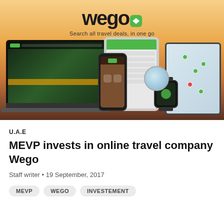[Figure (screenshot): Wego travel website promotional image showing logo, tagline 'Search all travel deals, in one go', and multiple devices (laptop, tablets, phone, smartwatch) displaying the Wego app/website against a sunset cityscape background.]
U.A.E
MEVP invests in online travel company Wego
Staff writer • 19 September, 2017
MEVP
WEGO
INVESTEMENT